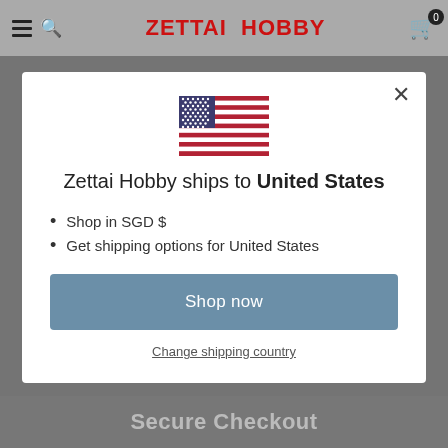ZETTAI HOBBY
[Figure (illustration): US flag SVG illustration]
Zettai Hobby ships to United States
Shop in SGD $
Get shipping options for United States
Shop now
Change shipping country
Secure Checkout